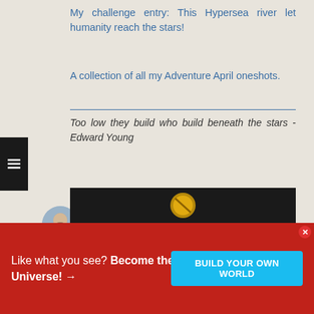My challenge entry: This Hypersea river let humanity reach the stars!
A collection of all my Adventure April oneshots.
Too low they build who build beneath the stars - Edward Young
Eternal Sage Satrium
21 Jun, 2022 20:31
First prompt done! Even if it is a bit of a
Like what you see? Become the Master of your own Universe! →
BUILD YOUR OWN WORLD